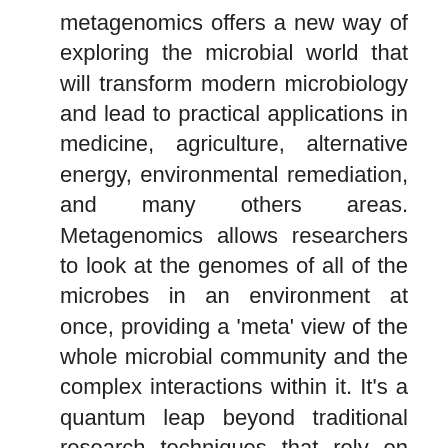metagenomics offers a new way of exploring the microbial world that will transform modern microbiology and lead to practical applications in medicine, agriculture, alternative energy, environmental remediation, and many others areas. Metagenomics allows researchers to look at the genomes of all of the microbes in an environment at once, providing a 'meta' view of the whole microbial community and the complex interactions within it. It's a quantum leap beyond traditional research techniques that rely on studying -- one at a time -- the few microbes that can be grown in the laboratory. At the request of the National Science Foundation, five Institutes of the National Institutes of Health, and the Department of Energy, the National Research Council organized a committee to address the current state of metagenomics and identify obstacles